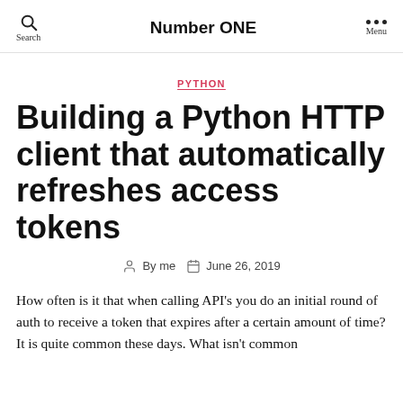Number ONE
PYTHON
Building a Python HTTP client that automatically refreshes access tokens
By me   June 26, 2019
How often is it that when calling API's you do an initial round of auth to receive a token that expires after a certain amount of time?
It is quite common these days. What isn't common